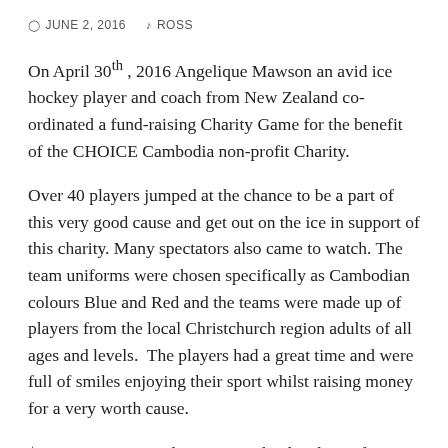JUNE 2, 2016   ROSS
On April 30th , 2016 Angelique Mawson an avid ice hockey player and coach from New Zealand co-ordinated a fund-raising Charity Game for the benefit of the CHOICE Cambodia non-profit Charity.
Over 40 players jumped at the chance to be a part of this very good cause and get out on the ice in support of this charity. Many spectators also came to watch. The team uniforms were chosen specifically as Cambodian colours Blue and Red and the teams were made up of players from the local Christchurch region adults of all ages and levels.  The players had a great time and were full of smiles enjoying their sport whilst raising money for a very worth cause.
$USD500 was raised in New Zealand and Angelique visited us in June 2016 at the CHOICE centre to present the money which will go towards school uniforms for the students.